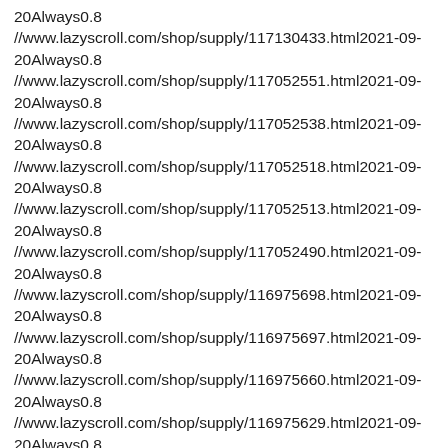20Always0.8
//www.lazyscroll.com/shop/supply/117130433.html2021-09-20Always0.8
//www.lazyscroll.com/shop/supply/117052551.html2021-09-20Always0.8
//www.lazyscroll.com/shop/supply/117052538.html2021-09-20Always0.8
//www.lazyscroll.com/shop/supply/117052518.html2021-09-20Always0.8
//www.lazyscroll.com/shop/supply/117052513.html2021-09-20Always0.8
//www.lazyscroll.com/shop/supply/117052490.html2021-09-20Always0.8
//www.lazyscroll.com/shop/supply/116975698.html2021-09-20Always0.8
//www.lazyscroll.com/shop/supply/116975697.html2021-09-20Always0.8
//www.lazyscroll.com/shop/supply/116975660.html2021-09-20Always0.8
//www.lazyscroll.com/shop/supply/116975629.html2021-09-20Always0.8
//www.lazyscroll.com/shop/supply/116975595.html2021-09-20Always0.8
//www.lazyscroll.com/shop/supply/116888827.html2021-09-20Always0.8
//www.lazyscroll.com/shop/supply/116888817.html2021-09-